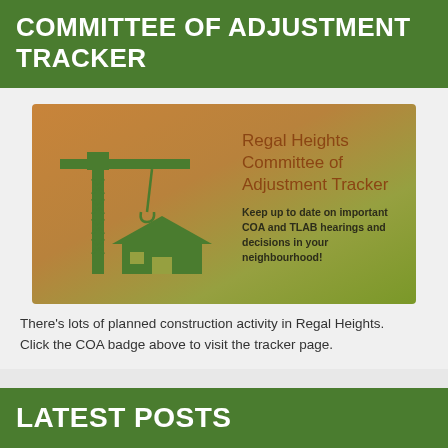COMMITTEE OF ADJUSTMENT TRACKER
[Figure (illustration): Regal Heights Committee of Adjustment Tracker badge image with a construction crane and house icon on a gradient bronze-to-green background. Text reads: 'Regal Heights Committee of Adjustment Tracker — Keep up to date on important COA and TLAB hearings and decisions in your neighbourhood!']
There's lots of planned construction activity in Regal Heights. Click the COA badge above to visit the tracker page.
LATEST POSTS